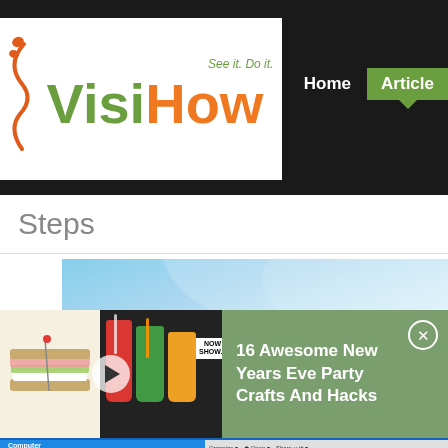[Figure (screenshot): VisiHow website header with logo showing 'Visi' in green and 'How' in orange with tagline 'See it. Do it.', navigation showing 'Home' and 'Articles' buttons]
Steps
[Figure (screenshot): Windows 7 desktop screenshot showing taskbar with Windows orb, browser windows including VisiHow, and other application buttons]
[Figure (screenshot): Video overlay showing party crafts thumbnail with food/drinks images and text '16 Awesome New Years Eve Party Crafts And Hacks' on green background with close button]
[Figure (screenshot): Windows Explorer showing Computer with folder icon on blue background, and file browser panel on right side with Organize, Open, Share toolbar and Favorites section]